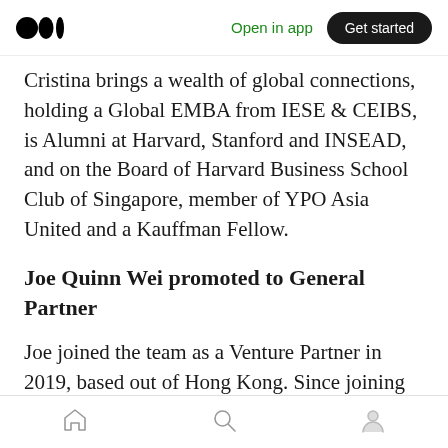Medium app header — Open in app | Get started
Cristina brings a wealth of global connections, holding a Global EMBA from IESE & CEIBS, is Alumni at Harvard, Stanford and INSEAD, and on the Board of Harvard Business School Club of Singapore, member of YPO Asia United and a Kauffman Fellow.
Joe Quinn Wei promoted to General Partner
Joe joined the team as a Venture Partner in 2019, based out of Hong Kong. Since joining White Star, Joe has led White Star Capital's investments in South-East Asia so far and sits on the Boards
Bottom navigation bar — Home, Search, Profile